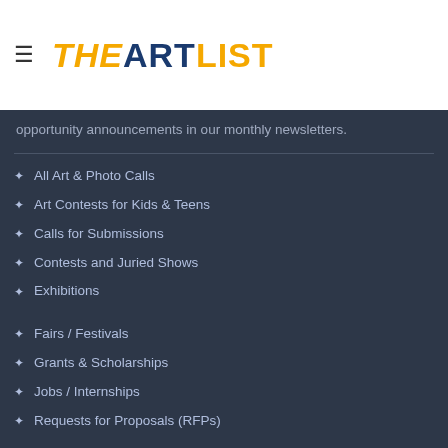THE ART LIST
opportunity announcements in our monthly newsletters.
All Art & Photo Calls
Art Contests for Kids & Teens
Calls for Submissions
Contests and Juried Shows
Exhibitions
Fairs / Festivals
Grants & Scholarships
Jobs / Internships
Requests for Proposals (RFPs)